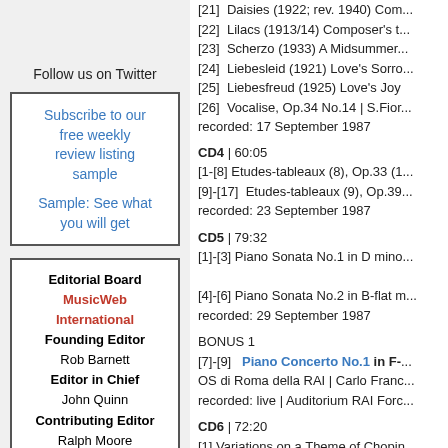Follow us on Twitter
Subscribe to our free weekly review listing sample

Sample: See what you will get
Editorial Board MusicWeb International Founding Editor Rob Barnett Editor in Chief John Quinn Contributing Editor Ralph Moore Seen & Heard Editor Emeritus Bill Kenny MusicWeb Webmaster
[21] Daisies (1922; rev. 1940) Com...
[22] Lilacs (1913/14) Composer's t...
[23] Scherzo (1933) A Midsummer...
[24] Liebesleid (1921) Love's Sorro...
[25] Liebesfreud (1925) Love's Joy
[26] Vocalise, Op.34 No.14 | S.Fior... recorded: 17 September 1987
CD4 | 60:05
[1-[8] Etudes-tableaux (8), Op.33 (1...
[9]-[17] Etudes-tableaux (9), Op.39...
recorded: 23 September 1987
CD5 | 79:32
[1]-[3] Piano Sonata No.1 in D mino...
[4]-[6] Piano Sonata No.2 in B-flat m...
recorded: 29 September 1987
BONUS 1
[7]-[9] Piano Concerto No.1 in F-... OS di Roma della RAI | Carlo Franc...
recorded: live | Auditorium RAI Forc...
CD6 | 72:20
[1] Variations on a Theme of Chopin...
recorded: 29 September 1987
[2] Variations on a Theme of Corelli...
recorded: 23 September 1987
BONUS 2